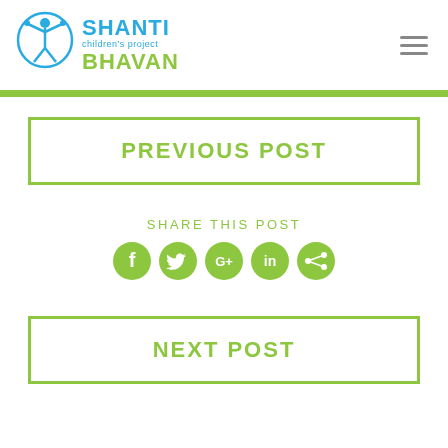[Figure (logo): Shanti Bhavan Children's Project logo with circular icon of a child figure and two-color text: SHANTI in blue, children's project in blue small text, BHAVAN in green]
PREVIOUS POST
SHARE THIS POST
[Figure (other): Row of 5 social media share icons: Facebook, Twitter, Google+, LinkedIn, Share — all in green circles]
NEXT POST